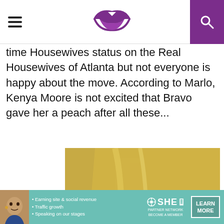[Hamburger menu] [Lips logo] [Search icon]
time Housewives status on the Real Housewives of Atlanta but not everyone is happy about the move. According to Marlo, Kenya Moore is not excited that Bravo gave her a peach after all these...
[Figure (photo): Woman with long blonde hair wearing a red jacket, gesturing with her hand, seated indoors with blurred background]
[Figure (infographic): Advertisement banner for SHE Partner Network with bullet points: Earning site & social revenue, Traffic growth, Speaking on our stages, and LEARN MORE button]